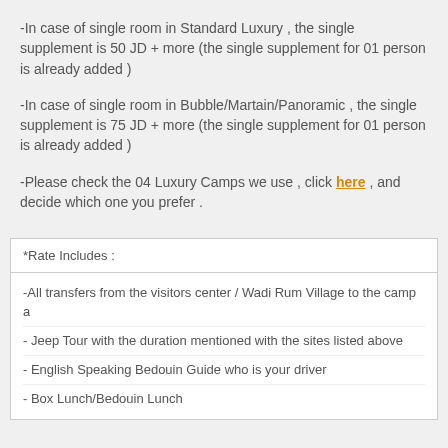-In case of single room in Standard Luxury , the single supplement is 50 JD + more (the single supplement for 01 person is already added )
-In case of single room in Bubble/Martain/Panoramic , the single supplement is 75 JD + more (the single supplement for 01 person is already added )
-Please check the 04 Luxury Camps we use , click here , and decide which one you prefer .
| *Rate Includes : |
| --- |
| -All transfers from the visitors center / Wadi Rum Village to the camp a |
| - Jeep Tour with the duration mentioned with the sites listed above |
| - English Speaking Bedouin Guide who is your driver |
| - Box Lunch/Bedouin Lunch |